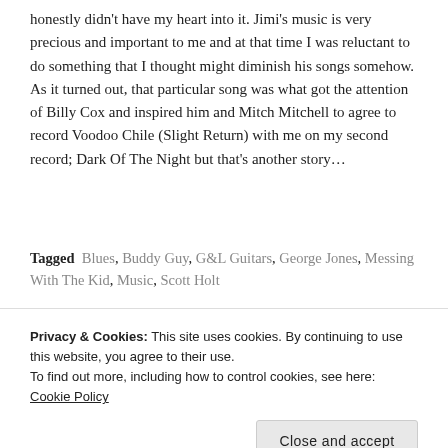honestly didn't have my heart into it. Jimi's music is very precious and important to me and at that time I was reluctant to do something that I thought might diminish his songs somehow. As it turned out, that particular song was what got the attention of Billy Cox and inspired him and Mitch Mitchell to agree to record Voodoo Chile (Slight Return) with me on my second record; Dark Of The Night but that's another story…
Tagged Blues, Buddy Guy, G&L Guitars, George Jones, Messing With The Kid, Music, Scott Holt
Privacy & Cookies: This site uses cookies. By continuing to use this website, you agree to their use.
To find out more, including how to control cookies, see here: Cookie Policy
Close and accept
2014